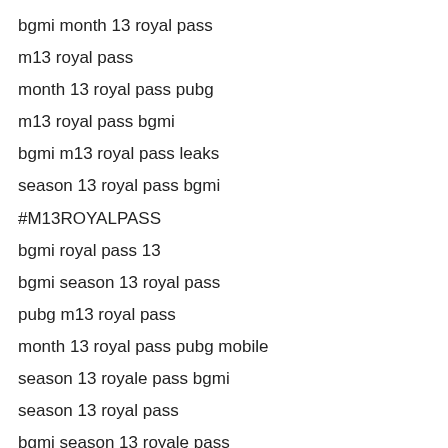bgmi month 13 royal pass
m13 royal pass
month 13 royal pass pubg
m13 royal pass bgmi
bgmi m13 royal pass leaks
season 13 royal pass bgmi
#M13ROYALPASS
bgmi royal pass 13
bgmi season 13 royal pass
pubg m13 royal pass
month 13 royal pass pubg mobile
season 13 royale pass bgmi
season 13 royal pass
bgmi season 13 royale pass
m13 royal pass pubg mobile
m13 royal pass pubg mobile